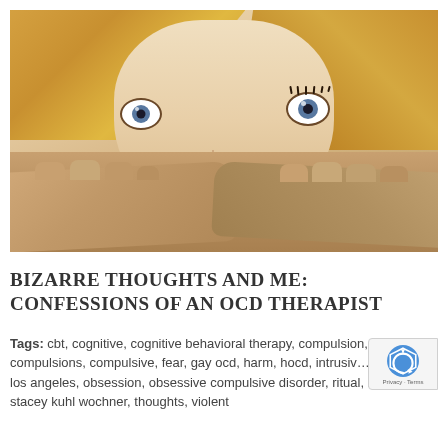[Figure (photo): Close-up photo of a young blonde woman with wide open blue eyes and both hands covering her mouth in a shocked or surprised expression, against a white background.]
BIZARRE THOUGHTS AND ME: CONFESSIONS OF AN OCD THERAPIST
Tags: cbt, cognitive, cognitive behavioral therapy, compulsions, compulsions, compulsive, fear, gay ocd, harm, hocd, intrusive thoughts, los angeles, obsession, obsessive compulsive disorder, ritual, rituals, stacey kuhl wochner, thoughts, violent